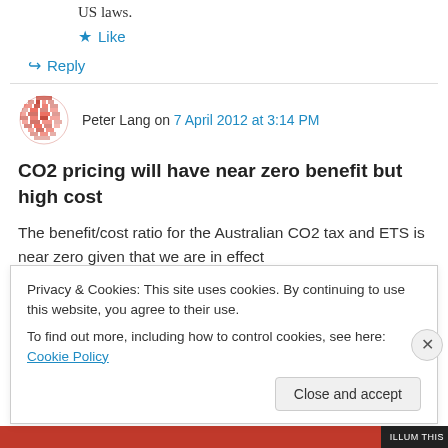US laws.
★ Like
↪ Reply
Peter Lang on 7 April 2012 at 3:14 PM
CO2 pricing will have near zero benefit but high cost
The benefit/cost ratio for the Australian CO2 tax and ETS is near zero given that we are in effect
Privacy & Cookies: This site uses cookies. By continuing to use this website, you agree to their use.
To find out more, including how to control cookies, see here: Cookie Policy
Close and accept